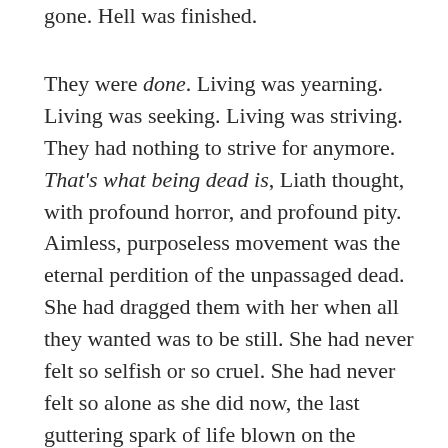gone. Hell was finished.
They were done. Living was yearning. Living was seeking. Living was striving. They had nothing to strive for anymore. That's what being dead is, Liath thought, with profound horror, and profound pity. Aimless, purposeless movement was the eternal perdition of the unpassaged dead. She had dragged them with her when all they wanted was to be still. She had never felt so selfish or so cruel. She had never felt so alone as she did now, the last guttering spark of life blown on the hauntwind with dust and shadows.